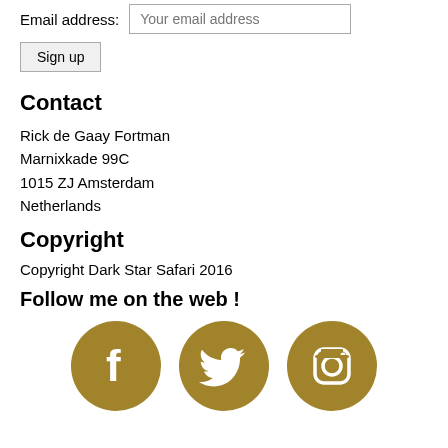Email address: Your email address
Sign up
Contact
Rick de Gaay Fortman
Marnixkade 99C
1015 ZJ Amsterdam
Netherlands
Copyright
Copyright Dark Star Safari 2016
Follow me on the web !
[Figure (illustration): Three golden circular social media icons: Facebook (f logo), Twitter (bird logo), Instagram (camera logo)]